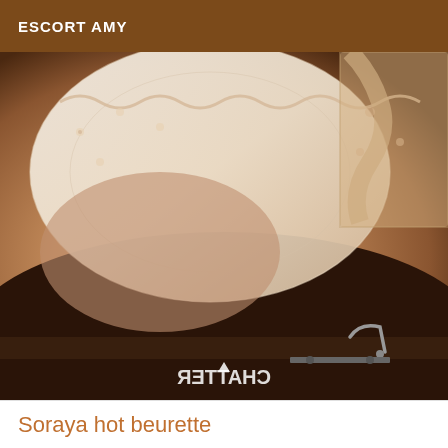ESCORT AMY
[Figure (photo): Close-up photo of a person wearing a white lace bra, with a watermark reading CHATTER mirrored at the bottom of the image]
Soraya hot beurette